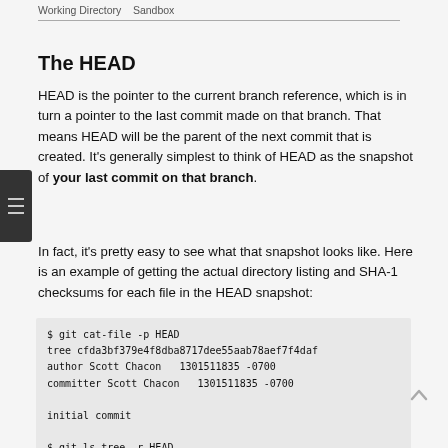Working Directory   Sandbox
The HEAD
HEAD is the pointer to the current branch reference, which is in turn a pointer to the last commit made on that branch. That means HEAD will be the parent of the next commit that is created. It's generally simplest to think of HEAD as the snapshot of your last commit on that branch.
In fact, it's pretty easy to see what that snapshot looks like. Here is an example of getting the actual directory listing and SHA-1 checksums for each file in the HEAD snapshot:
$ git cat-file -p HEAD
tree cfda3bf379e4f8dba8717dee55aab78aef7f4daf
author Scott Chacon  1301511835 -0700
committer Scott Chacon  1301511835 -0700

initial commit

$ git ls-tree -r HEAD
100644 blob a906cb2a4a904a152...   README
100644 blob 8f94130338f9404f2...   Rakefile